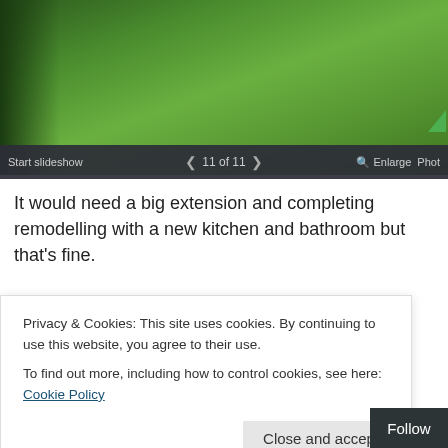[Figure (photo): Aerial or garden view showing green lawn with hedges/trees, part of a property slideshow. Slideshow bar at bottom shows '11 of 11' with navigation arrows, Enlarge and Photo controls.]
It would need a big extension and completing remodelling with a new kitchen and bathroom but that's fine.
Definitely worth a view, just a question of when. The
Privacy & Cookies: This site uses cookies. By continuing to use this website, you agree to their use.
To find out more, including how to control cookies, see here: Cookie Policy
Tuesday – I rang the estate agent to arrange a view
Close and accept
Follow